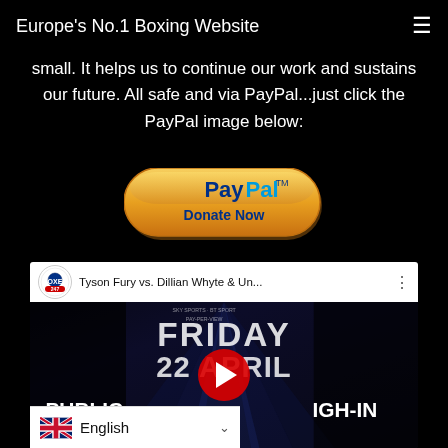Europe's No.1 Boxing Website
small. It helps us to continue our work and sustains our future. All safe and via PayPal...just click the PayPal image below:
[Figure (other): PayPal Donate Now button - gold/orange rounded rectangle button with PayPal logo and 'Donate Now' text]
[Figure (other): YouTube video embed showing Tyson Fury vs. Dillian Whyte & Un... - fight poster thumbnail with 'FRIDAY 22 APRIL PUBLIC WEIGH-IN' text and red YouTube play button overlay]
English